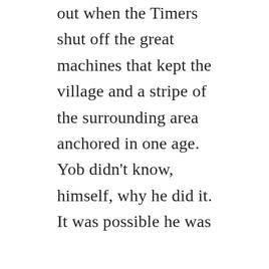out when the Timers shut off the great machines that kept the village and a stripe of the surrounding area anchored in one age. Yob didn't know, himself, why he did it. It was possible he was